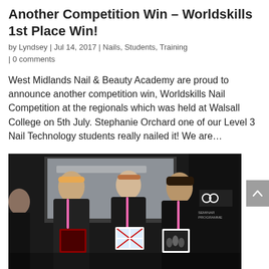Another Competition Win – Worldskills 1st Place Win!
by Lyndsey | Jul 14, 2017 | Nails, Students, Training | 0 comments
West Midlands Nail & Beauty Academy are proud to announce another competition win, Worldskills Nail Competition at the regionals which was held at Walsall College on 5th July. Stephanie Orchard one of our Level 3 Nail Technology students really nailed it! We are…
[Figure (photo): Three women standing together at an event, wearing black uniforms with pink medal lanyards, each holding framed awards/nail art displays. Background shows event signage including 'Seminar Programme'.]